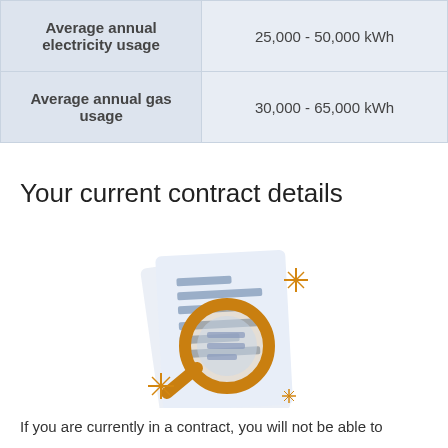|  |  |
| --- | --- |
| Average annual electricity usage | 25,000 - 50,000 kWh |
| Average annual gas usage | 30,000 - 65,000 kWh |
Your current contract details
[Figure (illustration): Illustration of a document with text lines and a magnifying glass with golden/amber colored frame, surrounded by golden sparkle/star decorations]
If you are currently in a contract, you will not be able to